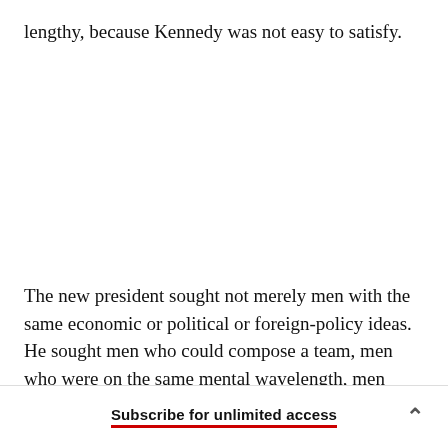lengthy, because Kennedy was not easy to satisfy.
The new president sought not merely men with the same economic or political or foreign-policy ideas. He sought men who could compose a team, men who were on the same mental wavelength, men
Subscribe for unlimited access